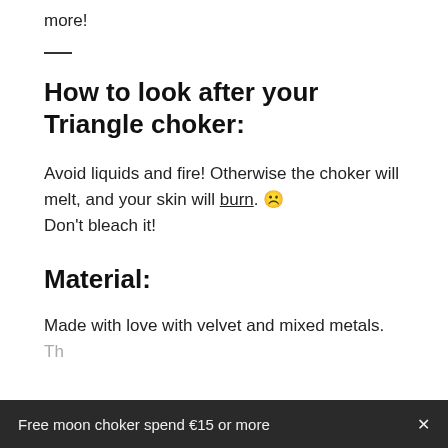more!
How to look after your Triangle choker:
Avoid liquids and fire! Otherwise the choker will melt, and your skin will burn. 🙁
Don't bleach it!
Material:
Made with love with velvet and mixed metals. Th...
Free moon choker spend €15 or more